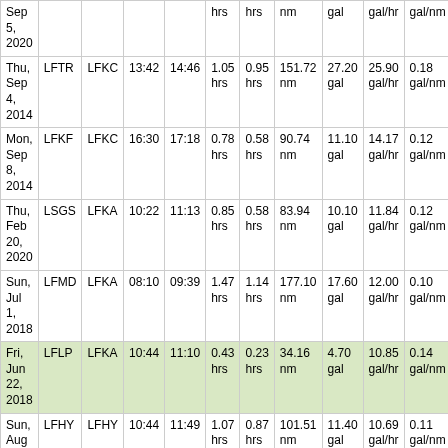| Date | From | To | Dep | Arr | Block | Air | Dist | Fuel | Fuel/hr | Fuel/nm |
| --- | --- | --- | --- | --- | --- | --- | --- | --- | --- | --- |
| Sep 5, 2020 |  |  |  |  | hrs | hrs | nm | gal | gal/hr | gal/nm |
| Thu, Sep 4, 2014 | LFTR | LFKC | 13:42 | 14:46 | 1.05 hrs | 0.95 hrs | 151.72 nm | 27.20 gal | 25.90 gal/hr | 0.18 gal/nm |
| Mon, Sep 8, 2014 | LFKF | LFKC | 16:30 | 17:18 | 0.78 hrs | 0.58 hrs | 90.74 nm | 11.10 gal | 14.17 gal/hr | 0.12 gal/nm |
| Thu, Feb 20, 2020 | LSGS | LFKA | 10:22 | 11:13 | 0.85 hrs | 0.58 hrs | 83.94 nm | 10.10 gal | 11.84 gal/hr | 0.12 gal/nm |
| Sun, Jul 1, 2018 | LFMD | LFKA | 08:10 | 09:39 | 1.47 hrs | 1.14 hrs | 177.10 nm | 17.60 gal | 12.00 gal/hr | 0.10 gal/nm |
| Fri, Jun 22, 2018 | LFLP | LFKA | 10:44 | 11:10 | 0.43 hrs | 0.23 hrs | 34.16 nm | 4.70 gal | 10.85 gal/hr | 0.14 gal/nm |
| Sun, Aug 7, 2016 | LFHY | LFHY | 10:44 | 11:49 | 1.07 hrs | 0.87 hrs | 101.51 nm | 11.40 gal | 10.69 gal/hr | 0.11 gal/nm |
| Sun, Aug 7, | LSGS | LFHY | 08:00 | 09:23 | 1.37 hrs | 1.2 hrs | 194.72 nm | 17.80 gal | 13.02 gal/hr | 0.09 gal/nm |